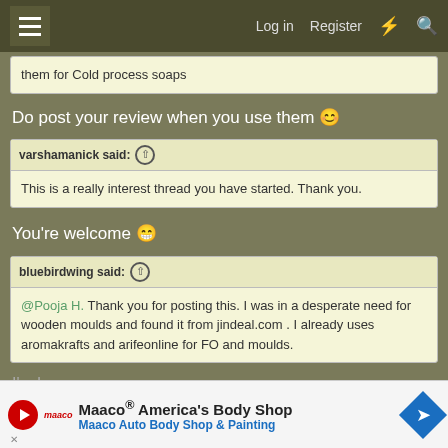≡   Log in   Register   ⚡   🔍
them for Cold process soaps
Do post your review when you use them 🙂
varshamanick said: ↑
This is a really interest thread you have started. Thank you.
You're welcome 😁
bluebirdwing said: ↑
@Pooja H. Thank you for posting this. I was in a desperate need for wooden moulds and found it from jindeal.com . I already uses aromakrafts and arifeonline for FO and moulds.
I'm h...
Maaco® America's Body Shop  Maaco Auto Body Shop & Painting